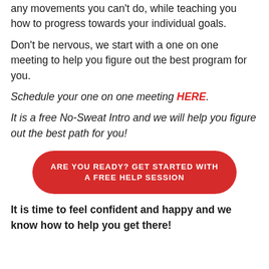any movements you can't do, while teaching you how to progress towards your individual goals.
Don't be nervous, we start with a one on one meeting to help you figure out the best program for you.
Schedule your one on one meeting HERE.
It is a free No-Sweat Intro and we will help you figure out the best path for you!
ARE YOU READY? GET STARTED WITH A FREE HELP SESSION
It is time to feel confident and happy and we know how to help you get there!